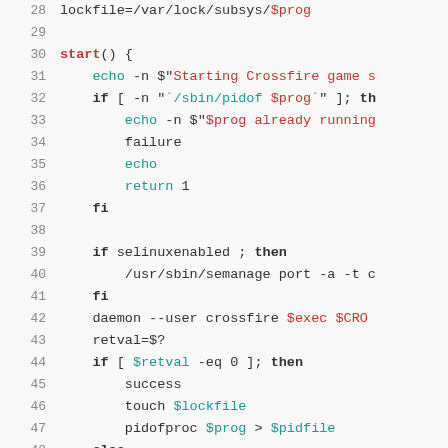[Figure (screenshot): Source code viewer showing shell script lines 28-51 with syntax highlighting. Keywords in bold red, string variables in red/cyan, commands in cyan.]